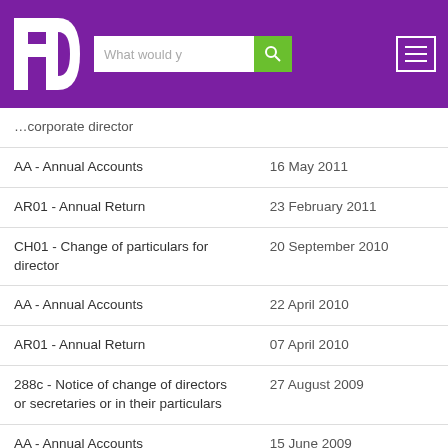FD logo with search bar and menu
| Filing type | Date |
| --- | --- |
| corporate director |  |
| AA - Annual Accounts | 16 May 2011 |
| AR01 - Annual Return | 23 February 2011 |
| CH01 - Change of particulars for director | 20 September 2010 |
| AA - Annual Accounts | 22 April 2010 |
| AR01 - Annual Return | 07 April 2010 |
| 288c - Notice of change of directors or secretaries or in their particulars | 27 August 2009 |
| AA - Annual Accounts | 15 June 2009 |